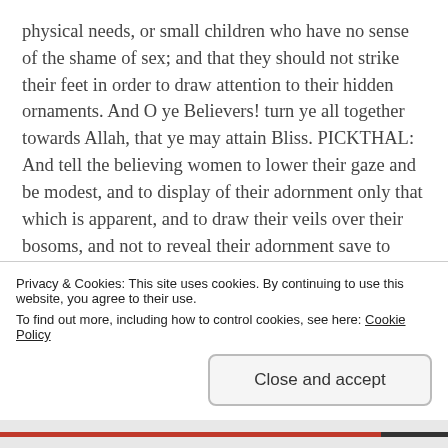physical needs, or small children who have no sense of the shame of sex; and that they should not strike their feet in order to draw attention to their hidden ornaments. And O ye Believers! turn ye all together towards Allah, that ye may attain Bliss. PICKTHAL: And tell the believing women to lower their gaze and be modest, and to display of their adornment only that which is apparent, and to draw their veils over their bosoms, and not to reveal their adornment save to their own husbands or fathers or husbands' fathers, or their sons or their husbands' sons, or their brothers or
Privacy & Cookies: This site uses cookies. By continuing to use this website, you agree to their use.
To find out more, including how to control cookies, see here: Cookie Policy
Close and accept